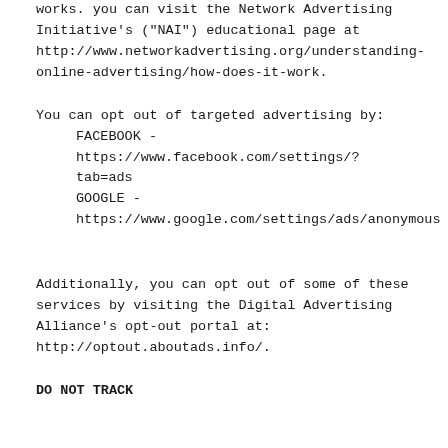works. you can visit the Network Advertising Initiative's ("NAI") educational page at http://www.networkadvertising.org/understanding-online-advertising/how-does-it-work.
You can opt out of targeted advertising by:
    FACEBOOK - https://www.facebook.com/settings/?tab=ads
    GOOGLE - https://www.google.com/settings/ads/anonymous
Additionally, you can opt out of some of these services by visiting the Digital Advertising Alliance's opt-out portal at: http://optout.aboutads.info/.
DO NOT TRACK